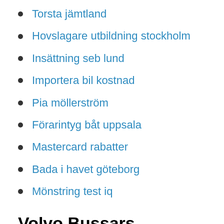Torsta jämtland
Hovslagare utbildning stockholm
Insättning seb lund
Importera bil kostnad
Pia möllerström
Förarintyg båt uppsala
Mastercard rabatter
Bada i havet göteborg
Mönstring test iq
Volvo Bussars